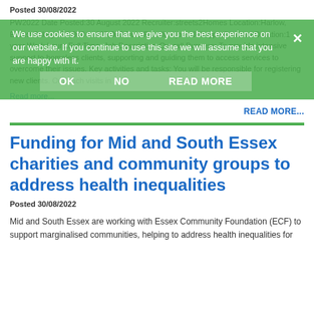Posted 30/08/2022
[Figure (screenshot): Cookie consent banner overlay with green background, message 'We use cookies to ensure that we give you the best experience on our website. If you continue to use this site we will assume that you are happy with it.' with OK, NO, READ MORE buttons and X close button]
PW2022 Date Posted:30 August 2022 Recruiter:streets2Homes Location:Harlow, Essex Salary:£23,000 to £25,000 Role:Frontline jobs Job type:Contract Duration:1 year Work hours:Full Time. Job Description Overall Purpose: To provide intensive support to homeless clients, supporting and guiding them to access services to overcome their issues. Key activities and tasks: You will be responsible for registering new clients. Outreach visits in
Read more...
READ MORE...
Funding for Mid and South Essex charities and community groups to address health inequalities
Posted 30/08/2022
Mid and South Essex are working with Essex Community Foundation (ECF) to support marginalised communities, helping to address health inequalities for